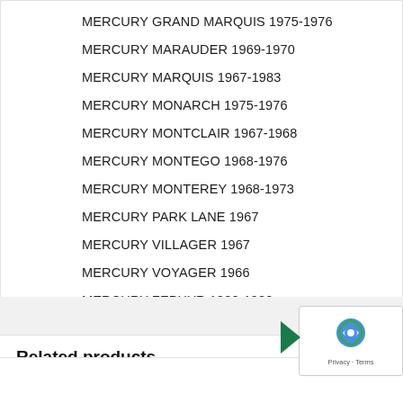MERCURY GRAND MARQUIS 1975-1976
MERCURY MARAUDER 1969-1970
MERCURY MARQUIS 1967-1983
MERCURY MONARCH 1975-1976
MERCURY MONTCLAIR 1967-1968
MERCURY MONTEGO 1968-1976
MERCURY MONTEREY 1968-1973
MERCURY PARK LANE 1967
MERCURY VILLAGER 1967
MERCURY VOYAGER 1966
MERCURY ZEPHYR 1980-1982
Related products